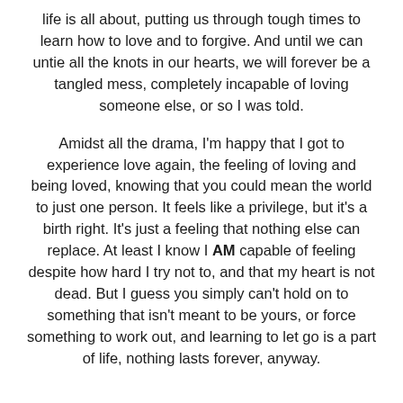life is all about, putting us through tough times to learn how to love and to forgive. And until we can untie all the knots in our hearts, we will forever be a tangled mess, completely incapable of loving someone else, or so I was told.
Amidst all the drama, I'm happy that I got to experience love again, the feeling of loving and being loved, knowing that you could mean the world to just one person. It feels like a privilege, but it's a birth right. It's just a feeling that nothing else can replace. At least I know I AM capable of feeling despite how hard I try not to, and that my heart is not dead. But I guess you simply can't hold on to something that isn't meant to be yours, or force something to work out, and learning to let go is a part of life, nothing lasts forever, anyway.